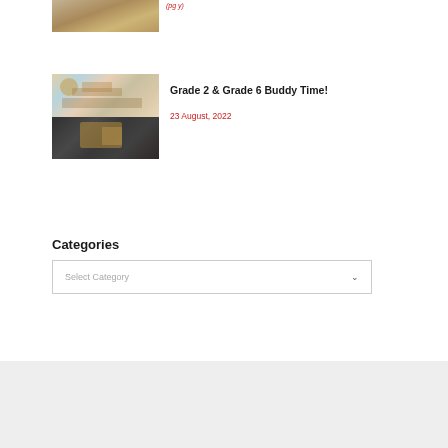[Figure (photo): Partial image of classroom or activity at top of page, cropped]
(page y)
[Figure (photo): Two-panel photo collage: top shows students sitting at desks in a classroom, bottom shows a student doing an activity with equipment]
Grade 2 & Grade 6 Buddy Time!
23 August, 2022
Categories
Select Category